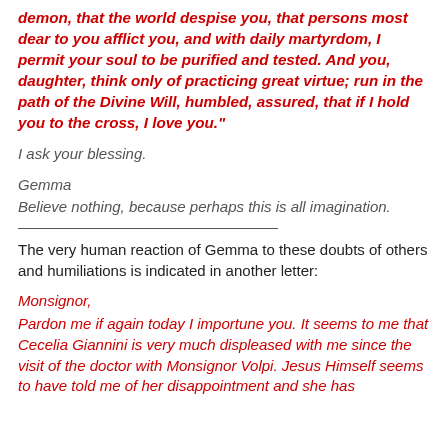demon, that the world despise you, that persons most dear to you afflict you, and with daily martyrdom, I permit your soul to be purified and tested. And you, daughter, think only of practicing great virtue; run in the path of the Divine Will, humbled, assured, that if I hold you to the cross, I love you."
I ask your blessing.
Gemma
Believe nothing, because perhaps this is all imagination.
The very human reaction of Gemma to these doubts of others and humiliations is indicated in another letter:
Monsignor,
Pardon me if again today I importune you. It seems to me that Cecelia Giannini is very much displeased with me since the visit of the doctor with Monsignor Volpi. Jesus Himself seems to have told me of her disappointment and she has